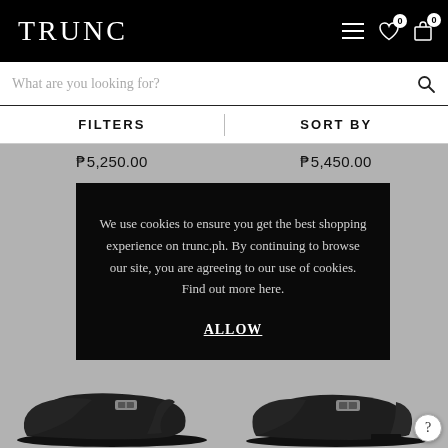TRUNC
What are you looking for?
FILTERS   SORT BY
₱5,250.00   ₱5,450.00
We use cookies to ensure you get the best shopping experience on trunc.ph. By continuing to browse our site, you are agreeing to our use of cookies. Find out more here.

ALLOW
[Figure (photo): Black leather mule/backless loafer shoe on gray background]
[Figure (photo): Black leather loafer shoe on gray background]